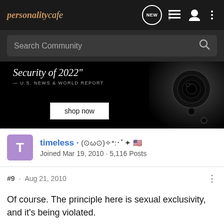personality cafe | navigation bar with NEW, list, user, and more icons
Search Community
[Figure (photo): Advertisement banner showing text 'Security of 2022' — U.S. NEWS & WORLD REPORT with a 'shop now' button and a camera on dark background]
timeless · (⊙ω⊙)✧*:･ﾟ✦ 🇺🇸
Joined Mar 19, 2010 · 5,116 Posts
#9 · Aug 21, 2010
Of course. The principle here is sexual exclusivity, and it's being violated.